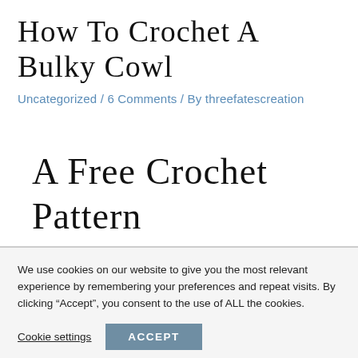How To Crochet A Bulky Cowl
Uncategorized / 6 Comments / By threefatescreation
A Free Crochet Pattern
We use cookies on our website to give you the most relevant experience by remembering your preferences and repeat visits. By clicking “Accept”, you consent to the use of ALL the cookies.
Cookie settings   ACCEPT